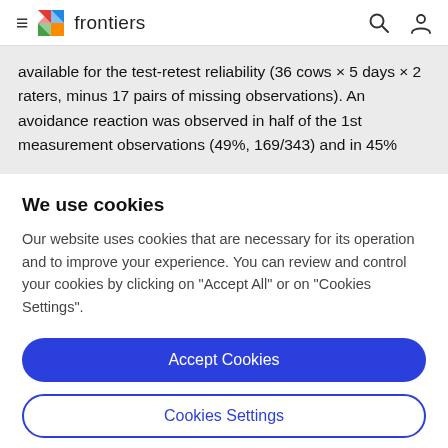frontiers
available for the test-retest reliability (36 cows × 5 days × 2 raters, minus 17 pairs of missing observations). An avoidance reaction was observed in half of the 1st measurement observations (49%, 169/343) and in 45%
We use cookies
Our website uses cookies that are necessary for its operation and to improve your experience. You can review and control your cookies by clicking on "Accept All" or on "Cookies Settings".
Accept Cookies
Cookies Settings